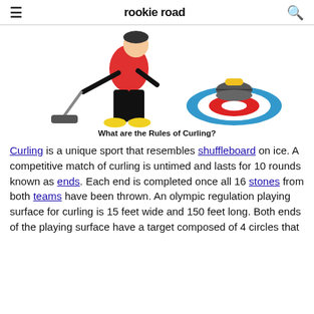rookie road
[Figure (illustration): Illustration of a curling player sweeping with a broom, alongside a curling stone on the ice target (house)]
What are the Rules of Curling?
Curling is a unique sport that resembles shuffleboard on ice. A competitive match of curling is untimed and lasts for 10 rounds known as ends. Each end is completed once all 16 stones from both teams have been thrown. An olympic regulation playing surface for curling is 15 feet wide and 150 feet long. Both ends of the playing surface have a target composed of 4 circles that